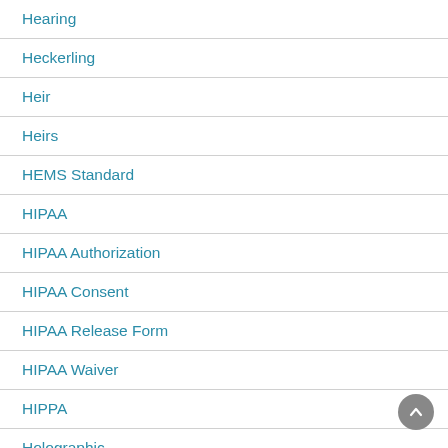Hearing
Heckerling
Heir
Heirs
HEMS Standard
HIPAA
HIPAA Authorization
HIPAA Consent
HIPAA Release Form
HIPAA Waiver
HIPPA
Holographic
Holographic Will